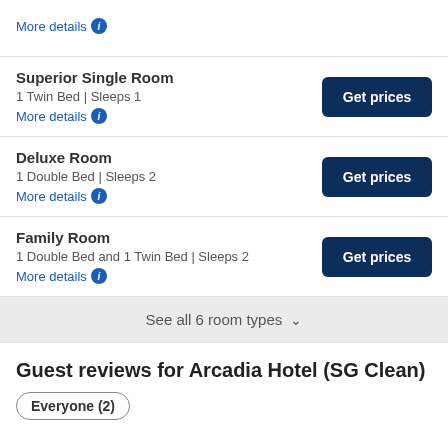More details ℹ
Superior Single Room
1 Twin Bed | Sleeps 1
More details ℹ
Deluxe Room
1 Double Bed | Sleeps 2
More details ℹ
Family Room
1 Double Bed and 1 Twin Bed | Sleeps 2
More details ℹ
See all 6 room types ∨
Guest reviews for Arcadia Hotel (SG Clean)
Everyone (2)